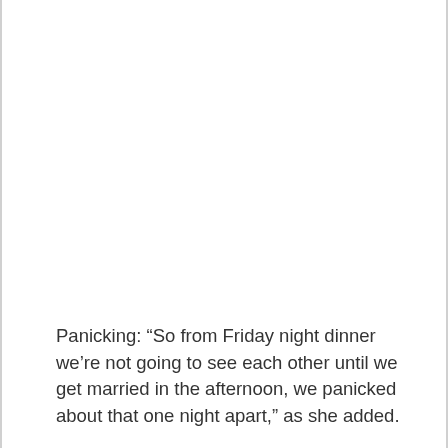Panicking: “So from Friday night dinner we’re not going to see each other until we get married in the afternoon, we panicked about that one night apart,” as she added.